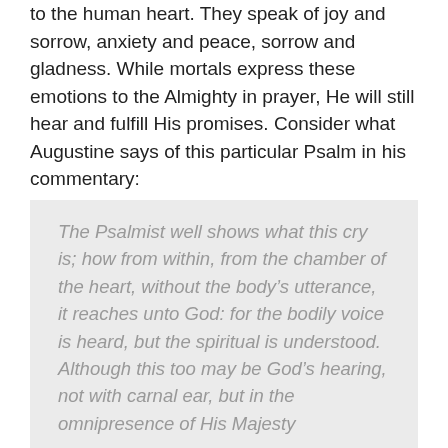to the human heart. They speak of joy and sorrow, anxiety and peace, sorrow and gladness. While mortals express these emotions to the Almighty in prayer, He will still hear and fulfill His promises. Consider what Augustine says of this particular Psalm in his commentary:
The Psalmist well shows what this cry is; how from within, from the chamber of the heart, without the body's utterance, it reaches unto God: for the bodily voice is heard, but the spiritual is understood. Although this too may be God's hearing, not with carnal ear, but in the omnipresence of His Majesty
SCHAFF, P., ED. (1888). SAINT